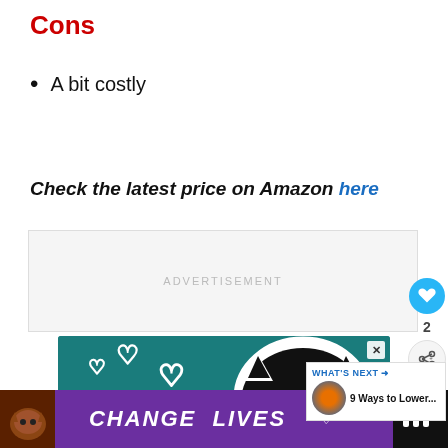Cons
A bit costly
Check the latest price on Amazon here
[Figure (other): Advertisement placeholder area with gray background labeled ADVERTISEMENT]
[Figure (photo): Advertisement image for 'Best' cat product on teal background with cat face and heart icons. Close button visible. 'What's Next' panel showing '9 Ways to Lower...' with thumbnail.]
[Figure (other): Bottom banner advertisement with purple background reading 'CHANGE LIVES' with cat images and a close button. Black logo panel on right.]